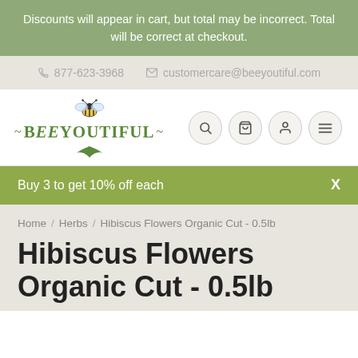Discounts will appear in cart, but total may be incorrect. Total will be correct at checkout.
877-623-3968   customercare@beeyoutiful.com
[Figure (logo): Beeyoutiful brand logo with bee illustration and green leaf decoration. Four navigation icon buttons: search, cart, account, menu.]
Buy 3 to get 10% off each   X
Home / Herbs / Hibiscus Flowers Organic Cut - 0.5lb
Hibiscus Flowers Organic Cut - 0.5lb